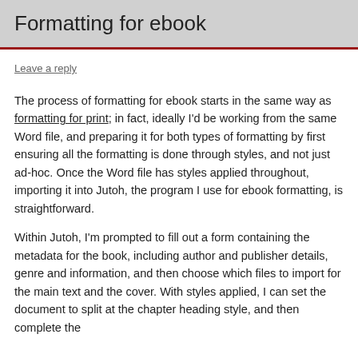Formatting for ebook
Leave a reply
The process of formatting for ebook starts in the same way as formatting for print; in fact, ideally I’d be working from the same Word file, and preparing it for both types of formatting by first ensuring all the formatting is done through styles, and not just ad-hoc. Once the Word file has styles applied throughout, importing it into Jutoh, the program I use for ebook formatting, is straightforward.
Within Jutoh, I’m prompted to fill out a form containing the metadata for the book, including author and publisher details, genre and information, and then choose which files to import for the main text and the cover. With styles applied, I can set the document to split at the chapter heading style, and then complete the